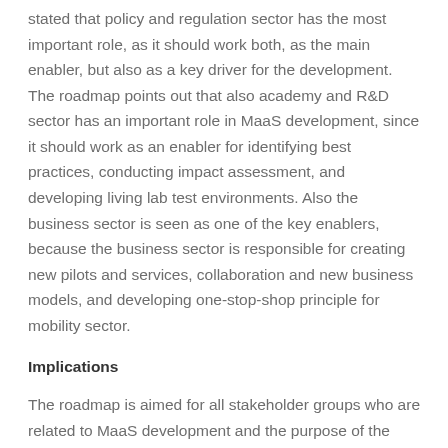stated that policy and regulation sector has the most important role, as it should work both, as the main enabler, but also as a key driver for the development. The roadmap points out that also academy and R&D sector has an important role in MaaS development, since it should work as an enabler for identifying best practices, conducting impact assessment, and developing living lab test environments. Also the business sector is seen as one of the key enablers, because the business sector is responsible for creating new pilots and services, collaboration and new business models, and developing one-stop-shop principle for mobility sector.
Implications
The roadmap is aimed for all stakeholder groups who are related to MaaS development and the purpose of the roadmap is to clarify different roles and